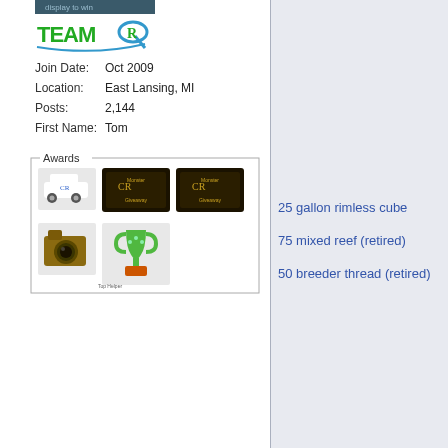[Figure (logo): Team-R logo with stylized R in green and blue]
Join Date: Oct 2009
Location: East Lansing, MI
Posts: 2,144
First Name: Tom
[Figure (illustration): Awards box containing: mini car badge, two Monster Giveaway tickets, a camera badge, and a trophy badge]
25 gallon rimless cube
75 mixed reef (retired)
50 breeder thread (retired)
« Previo
Tags for this Thread
acans, changed, fine, lights, water
View Tag Cloud